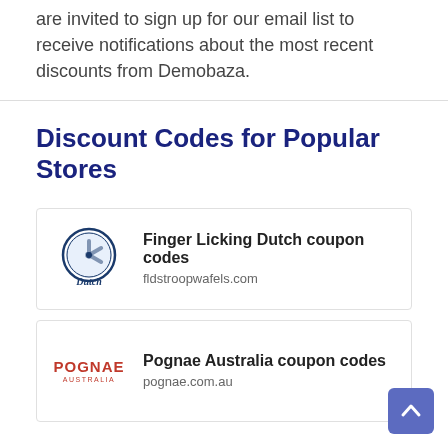are invited to sign up for our email list to receive notifications about the most recent discounts from Demobaza.
Discount Codes for Popular Stores
Finger Licking Dutch coupon codes
fldstroopwafels.com
Pognae Australia coupon codes
pognae.com.au